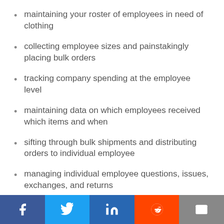maintaining your roster of employees in need of clothing
collecting employee sizes and painstakingly placing bulk orders
tracking company spending at the employee level
maintaining data on which employees received which items and when
sifting through bulk shipments and distributing orders to individual employee
managing individual employee questions, issues, exchanges, and returns
…all in addition to the core responsibilities of your job!
In fact, over the last 20 years, managed programs have become the industry-standard approach to purchasing FRC. Since Tyndale pioneered the model, managed programs have proven their ability to streamline FRC